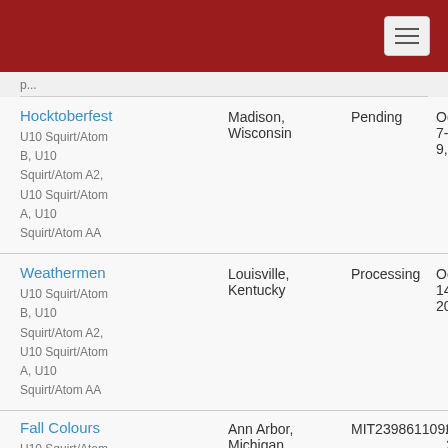Hocktoberfest | Madison, Wisconsin | Pending | October 7-9, 2022 | U10 Squirt/Atom B, U10 Squirt/Atom A2, U10 Squirt/Atom A, U10 Squirt/Atom AA
Weathermen | Louisville, Kentucky | Processing | October 14-16, 2022 | U10 Squirt/Atom B, U10 Squirt/Atom A2, U10 Squirt/Atom A, U10 Squirt/Atom AA
Fall Colours | Ann Arbor, Michigan | MIT2398611092 | October 21-23, 2022 | U10 Squirt/Atom